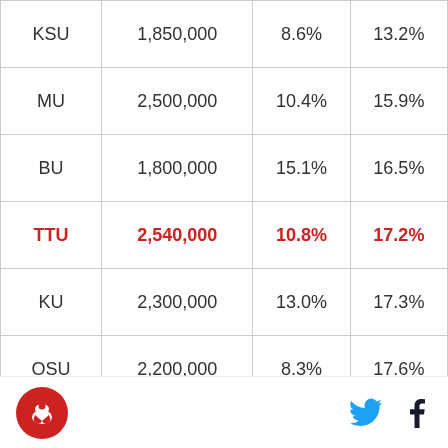| KSU | 1,850,000 | 8.6% | 13.2% |
| MU | 2,500,000 | 10.4% | 15.9% |
| BU | 1,800,000 | 15.1% | 16.5% |
| TTU | 2,540,000 | 10.8% | 17.2% |
| KU | 2,300,000 | 13.0% | 17.3% |
| OSU | 2,200,000 | 8.3% | 17.6% |
| OU | 3,800,000 | 8.9% | 18.3% |
[Figure (logo): Round red logo with a bird/mascot icon]
[Figure (logo): Twitter bird icon in blue]
[Figure (logo): Facebook f icon in dark blue/black]